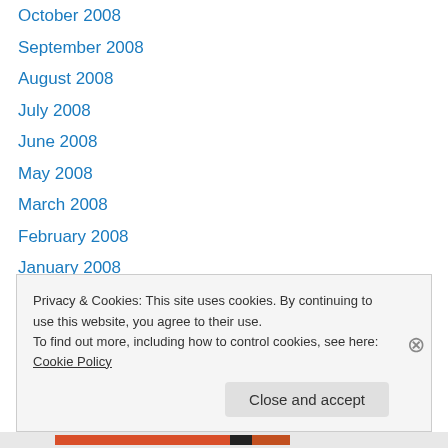October 2008
September 2008
August 2008
July 2008
June 2008
May 2008
March 2008
February 2008
January 2008
December 2007
November 2007
October 2007
August 2007
Privacy & Cookies: This site uses cookies. By continuing to use this website, you agree to their use.
To find out more, including how to control cookies, see here: Cookie Policy